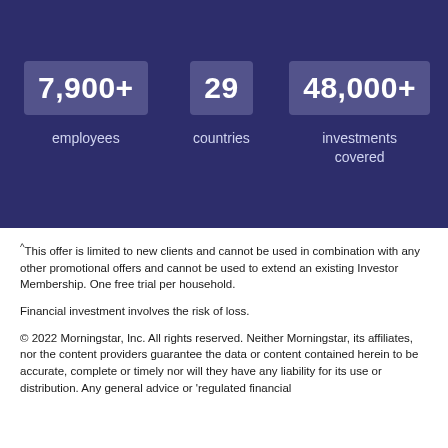[Figure (infographic): Dark blue/indigo background infographic panel showing three key statistics: 7,900+ employees, 29 countries, 48,000+ investments covered, each with a number in a highlighted box above the label text.]
^This offer is limited to new clients and cannot be used in combination with any other promotional offers and cannot be used to extend an existing Investor Membership. One free trial per household.
Financial investment involves the risk of loss.
© 2022 Morningstar, Inc. All rights reserved. Neither Morningstar, its affiliates, nor the content providers guarantee the data or content contained herein to be accurate, complete or timely nor will they have any liability for its use or distribution. Any general advice or 'regulated financial